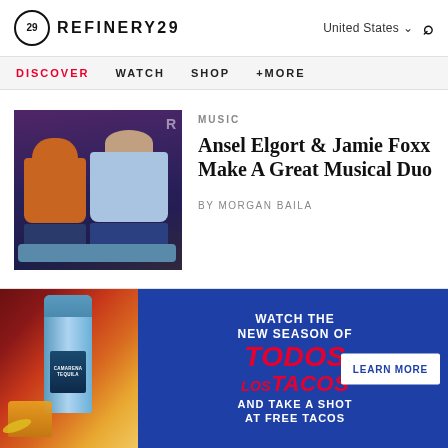REFINERY29
DISCOVER  WATCH  SHOP  +MORE
[Figure (photo): Two men sitting on a couch in a talk show setting — one wearing an orange jacket, one in a light blue outfit]
MUSIC
Ansel Elgort & Jamie Foxx Make A Great Musical Duo
by MORGAN BAILA
[Figure (infographic): Advertisement banner for Todos Los Tacos show featuring Camarena Tequila bottle with text: WATCH THE NEW SEASON OF TODOS LOS TACOS AND TAKE A SHOT AT FREE TACOS, with LEARN MORE button]